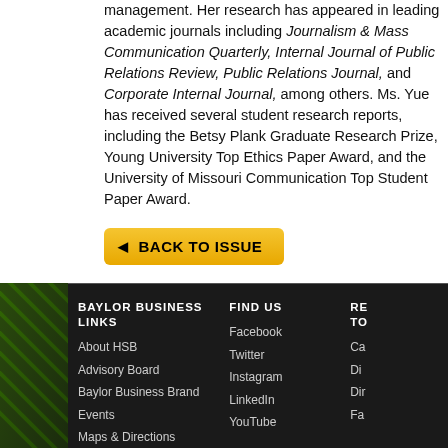management. Her research has appeared in leading academic journals including Journalism & Mass Communication Quarterly, Internal Journal of Public Relations Review, Public Relations Journal, and Corporate Internal Journal, among others. Ms. Yue has received several student research reports, including the Betsy Plank Graduate Research Prize, Brigham Young University Top Ethics Paper Award, and the University of Missouri Communication Top Student Paper Award.
BACK TO ISSUE
BAYLOR BUSINESS LINKS | About HSB | Advisory Board | Baylor Business Brand | Events | Maps & Directions | FIND US | Facebook | Twitter | Instagram | LinkedIn | YouTube | RE... TO...